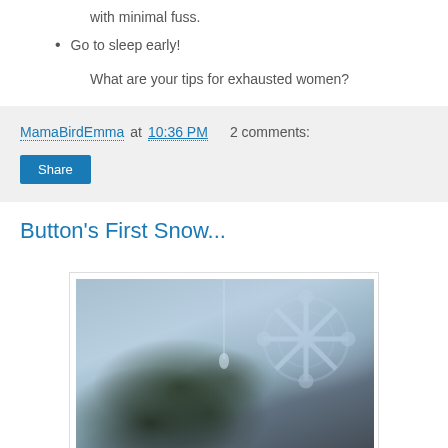with minimal fuss.
Go to sleep early!
What are your tips for exhausted women?
MamaBirdEmma at 10:36 PM   2 comments:
Share
Button's First Snow...
[Figure (photo): A dark, moody photo of a potted plant with small flowers and a glass ornament, with snowflake decorations blurred in the background against a blue-grey winter light.]